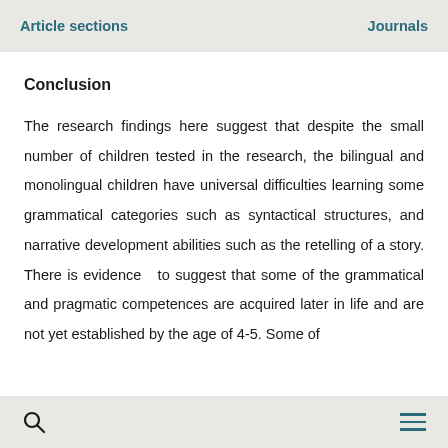Article sections    Journals
Conclusion
The research findings here suggest that despite the small number of children tested in the research, the bilingual and monolingual children have universal difficulties learning some grammatical categories such as syntactical structures, and narrative development abilities such as the retelling of a story. There is evidence  to suggest that some of the grammatical and pragmatic competences are acquired later in life and are not yet established by the age of 4-5. Some of